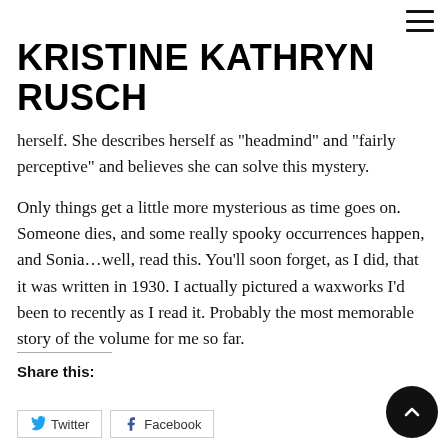≡ (hamburger menu icon)
KRISTINE KATHRYN RUSCH
herself. She describes herself as "headmind" and "fairly perceptive" and believes she can solve this mystery.
Only things get a little more mysterious as time goes on. Someone dies, and some really spooky occurrences happen, and Sonia…well, read this. You'll soon forget, as I did, that it was written in 1930. I actually pictured a waxworks I'd been to recently as I read it. Probably the most memorable story of the volume for me so far.
Share this:
Twitter
Facebook